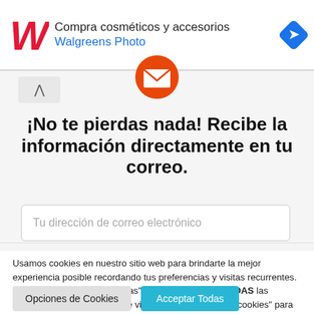[Figure (screenshot): Walgreens advertisement banner with red cursive W logo, text 'Compra cosméticos y accesorios' and 'Walgreens Photo' in blue, and a blue diamond-shaped arrow icon on the right]
¡No te pierdas nada! Recibe la información directamente en tu correo.
Tu dirección de correo electrónico
Usamos cookies en nuestro sitio web para brindarte la mejor experiencia posible recordando tus preferencias y visitas recurrentes. Al hacer clic en "Aceptar todas", aceptas el uso de TODAS las cookies. Sin embargo, puede visitar "Configuración de cookies" para proporcionarnos un consentimiento controlado.
Opciones de Cookies
Acceptar Todas